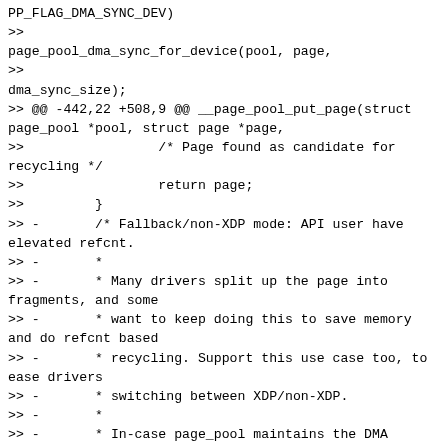PP_FLAG_DMA_SYNC_DEV)
>>
page_pool_dma_sync_for_device(pool, page,
>>
dma_sync_size);
>> @@ -442,22 +508,9 @@ __page_pool_put_page(struct page_pool *pool, struct page *page,
>>                 /* Page found as candidate for recycling */
>>                 return page;
>>         }
>> -       /* Fallback/non-XDP mode: API user have elevated refcnt.
>> -       *
>> -       * Many drivers split up the page into fragments, and some
>> -       * want to keep doing this to save memory and do refcnt based
>> -       * recycling. Support this use case too, to ease drivers
>> -       * switching between XDP/non-XDP.
>> -       *
>> -       * In-case page_pool maintains the DMA mapping, API user must
>> -       * call page_pool_put_page once.  In this elevated refcnt
>> -       * case, the DMA is unmapped/released, as driver is likely
>> -       * doing refcnt based recycle tricks, meaning another process
>> -       * will be invoking put page